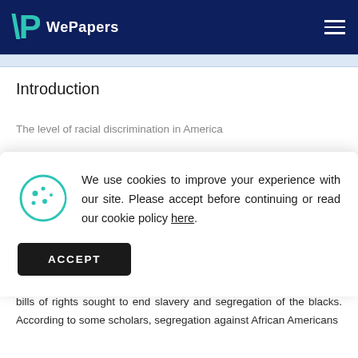WePapers
Introduction
The level of racial discrimination in America
We use cookies to improve your experience with our site. Please accept before continuing or read our cookie policy here.
enactment of the civil right act of 1964 and other bills of rights sought to end slavery and segregation of the blacks. According to some scholars, segregation against African Americans